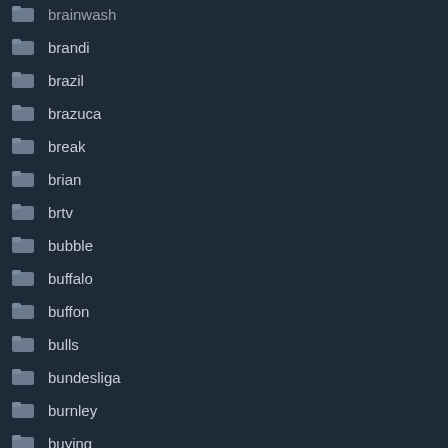brainwash
brandi
brazil
brazuca
break
brian
brtv
bubble
buffalo
buffon
bulls
bundesliga
burnley
buying
caesars
cahill
call
cameron